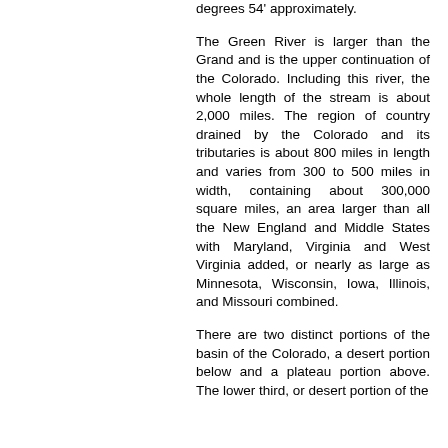degrees 54' approximately.
The Green River is larger than the Grand and is the upper continuation of the Colorado. Including this river, the whole length of the stream is about 2,000 miles. The region of country drained by the Colorado and its tributaries is about 800 miles in length and varies from 300 to 500 miles in width, containing about 300,000 square miles, an area larger than all the New England and Middle States with Maryland, Virginia and West Virginia added, or nearly as large as Minnesota, Wisconsin, Iowa, Illinois, and Missouri combined.
There are two distinct portions of the basin of the Colorado, a desert portion below and a plateau portion above. The lower third, or desert portion of the